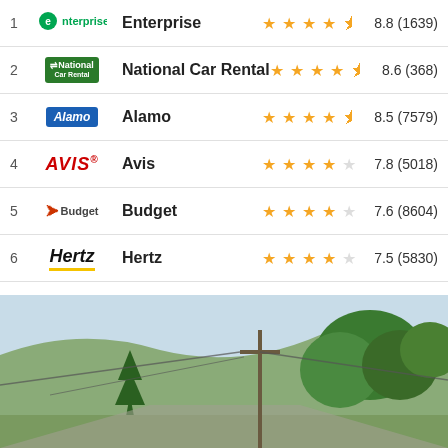1 Enterprise 8.8 (1639)
2 National Car Rental 8.6 (368)
3 Alamo 8.5 (7579)
4 Avis 7.8 (5018)
5 Budget 7.6 (8604)
6 Hertz 7.5 (5830)
[Figure (photo): Outdoor scene with trees, power lines, and a road under a light blue sky]